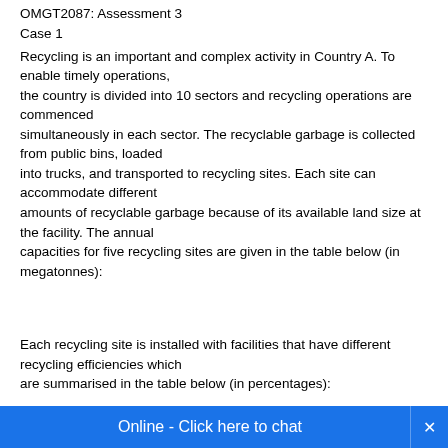OMGT2087: Assessment 3
Case 1
Recycling is an important and complex activity in Country A. To enable timely operations, the country is divided into 10 sectors and recycling operations are commenced simultaneously in each sector. The recyclable garbage is collected from public bins, loaded into trucks, and transported to recycling sites. Each site can accommodate different amounts of recyclable garbage because of its available land size at the facility. The annual capacities for five recycling sites are given in the table below (in megatonnes):
Each recycling site is installed with facilities that have different recycling efficiencies which are summarised in the table below (in percentages):
The cost of collecting and...